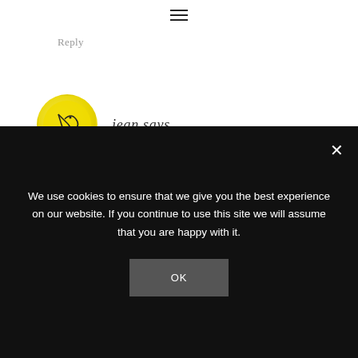≡
Reply
[Figure (illustration): Yellow circular avatar with stylized monogram/logo in black ink]
jean says
MAY 16, 2022 AT 2:32 PM
Hi, Paul. I've fixed the recipe to say only 1 1/2
We use cookies to ensure that we give you the best experience on our website. If you continue to use this site we will assume that you are happy with it.
OK